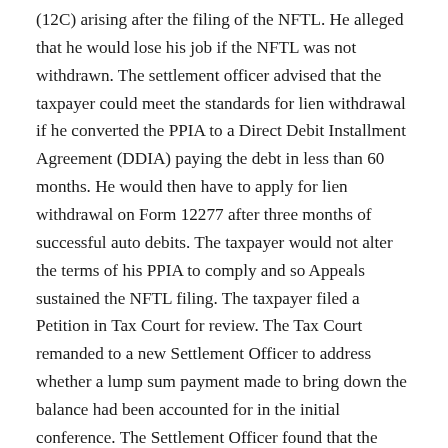(12C) arising after the filing of the NFTL. He alleged that he would lose his job if the NFTL was not withdrawn. The settlement officer advised that the taxpayer could meet the standards for lien withdrawal if he converted the PPIA to a Direct Debit Installment Agreement (DDIA) paying the debt in less than 60 months. He would then have to apply for lien withdrawal on Form 12277 after three months of successful auto debits. The taxpayer would not alter the terms of his PPIA to comply and so Appeals sustained the NFTL filing. The taxpayer filed a Petition in Tax Court for review. The Tax Court remanded to a new Settlement Officer to address whether a lump sum payment made to bring down the balance had been accounted for in the initial conference. The Settlement Officer found that the payments calculated by the first Settlement Officer were correct and requested documentation that his employment was in jeopardy. The taxpayer declined and decided to continue in Court. Ultimately, the Taxpayer failed to substantiate any information regarding possible loss of employment. The Court ruled that the Settlement Officer had